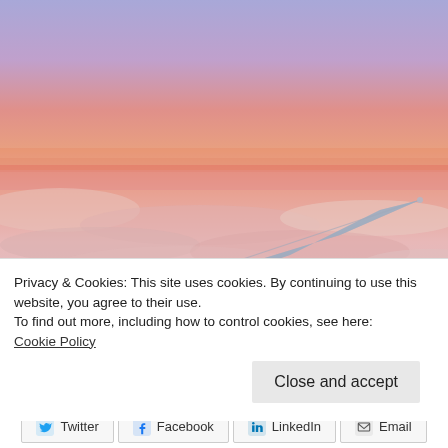[Figure (photo): Aerial view of an airplane wing against a sunset sky with pink and purple clouds below]
Privacy & Cookies: This site uses cookies. By continuing to use this website, you agree to their use.
To find out more, including how to control cookies, see here:
Cookie Policy
Close and accept
Twitter  Facebook  LinkedIn  Email